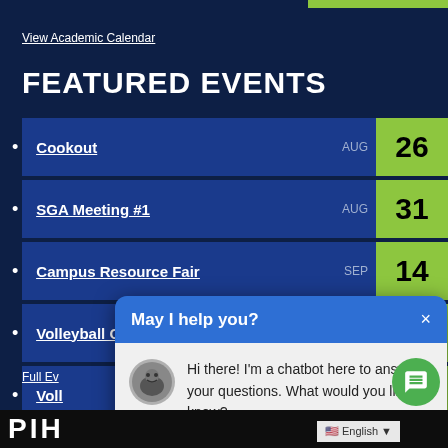View Academic Calendar
FEATURED EVENTS
Cookout  AUG  26
SGA Meeting #1  AUG  31
Campus Resource Fair  SEP  14
Volleyball Game #2  SEP  14
Voll[eyball]  SEP  16
[Figure (screenshot): Chatbot popup overlay with header 'May I help you?' and message 'Hi there! I'm a chatbot here to answer your questions. What would you like to know?']
Full Ev[ents]
English